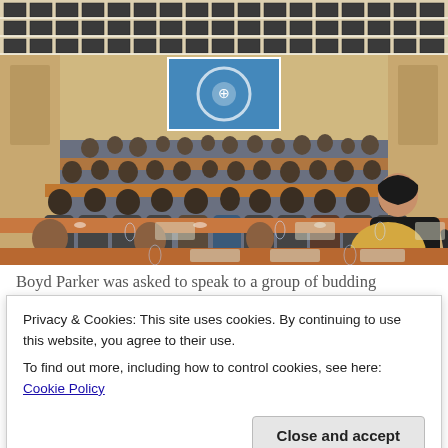[Figure (photo): A large conference room filled with attendees seated at long tables arranged in rows. The room has a modern drop ceiling with recessed lighting panels, warm wood-paneled walls, and a large blue projection screen at the front showing a circular logo. A woman in dark clothing stands at the right side. The audience is viewed from behind.]
Boyd Parker was asked to speak to a group of budding
Privacy & Cookies: This site uses cookies. By continuing to use this website, you agree to their use.
To find out more, including how to control cookies, see here: Cookie Policy
Close and accept